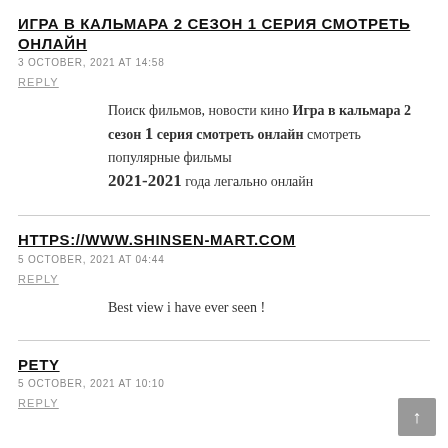ИГРА В КАЛЬМАРА 2 СЕЗОН 1 СЕРИЯ СМОТРЕТЬ ОНЛАЙН
3 OCTOBER, 2021 AT 14:58
REPLY
Поиск фильмов, новости кино Игра в кальмара 2 сезон 1 серия смотреть онлайн смотреть популярные фильмы 2021-2021 года легально онлайн
HTTPS://WWW.SHINSEN-MART.COM
5 OCTOBER, 2021 AT 04:44
REPLY
Best view i have ever seen !
PETY
5 OCTOBER, 2021 AT 10:10
REPLY